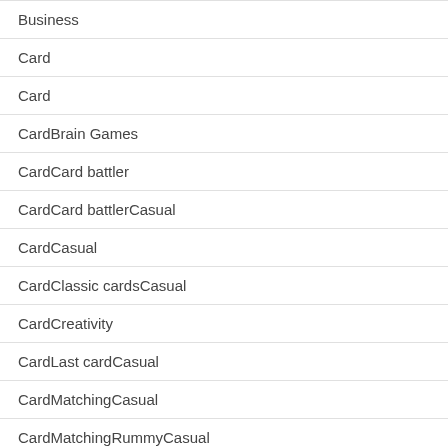Business
Card
Card
CardBrain Games
CardCard battler
CardCard battlerCasual
CardCasual
CardClassic cardsCasual
CardCreativity
CardLast cardCasual
CardMatchingCasual
CardMatchingRummyCasual
CardSolitaire